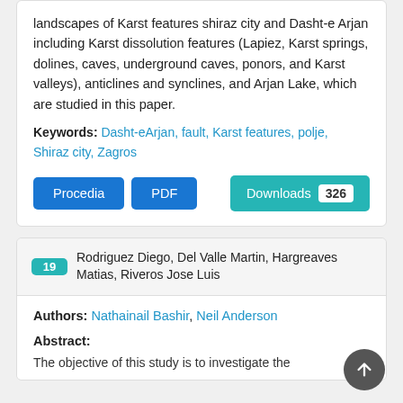landscapes of Karst features shiraz city and Dasht-e Arjan including Karst dissolution features (Lapiez, Karst springs, dolines, caves, underground caves, ponors, and Karst valleys), anticlines and synclines, and Arjan Lake, which are studied in this paper.
Keywords: Dasht-eArjan, fault, Karst features, polje, Shiraz city, Zagros
Procedia | PDF | Downloads 326
19 Rodriguez Diego, Del Valle Martin, Hargreaves Matias, Riveros Jose Luis
Authors: Nathainail Bashir, Neil Anderson
Abstract:
The objective of this study is to investigate the...